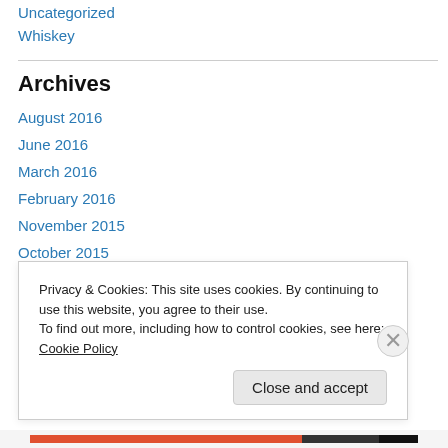Uncategorized
Whiskey
Archives
August 2016
June 2016
March 2016
February 2016
November 2015
October 2015
September 2015
August 2015
Privacy & Cookies: This site uses cookies. By continuing to use this website, you agree to their use. To find out more, including how to control cookies, see here: Cookie Policy
Close and accept